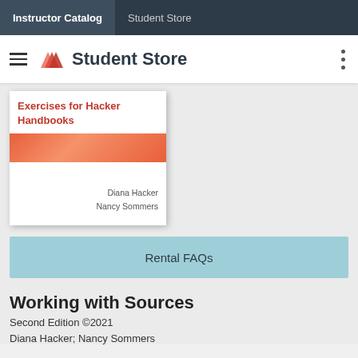Instructor Catalog | Student Store
Student Store
[Figure (illustration): Book cover for 'Exercises for Hacker Handbooks' by Diana Hacker and Nancy Sommers, with red title text at top, an orange/red gradient stripe across the middle, and author names at the bottom right.]
Rental FAQs
Working with Sources
Second Edition  ©2021
Diana Hacker; Nancy Sommers